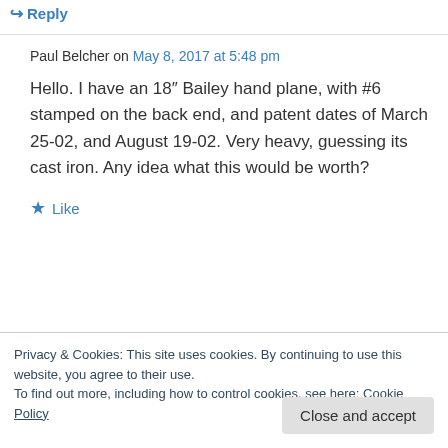↪ Reply
Paul Belcher on May 8, 2017 at 5:48 pm
Hello. I have an 18" Bailey hand plane, with #6 stamped on the back end, and patent dates of March 25-02, and August 19-02. Very heavy, guessing its cast iron. Any idea what this would be worth?
★ Like
↪ Reply
Privacy & Cookies: This site uses cookies. By continuing to use this website, you agree to their use.
To find out more, including how to control cookies, see here: Cookie Policy